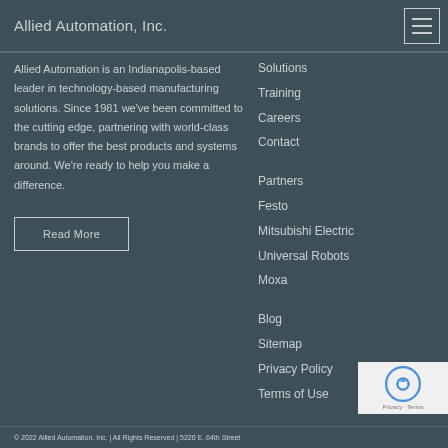Allied Automation, Inc.
Allied Automation is an Indianapolis-based leader in technology-based manufacturing solutions. Since 1981 we've been committed to the cutting edge, partnering with world-class brands to offer the best products and systems around. We're ready to help you make a difference.
Read More
Solutions
Training
Careers
Contact
Partners
Festo
Mitsubishi Electric
Universal Robots
Moxa
Blog
Sitemap
Privacy Policy
Terms of Use
© 2022 Allied Automation, Inc. | All Rights Reserved | 5220 E. 64th Street